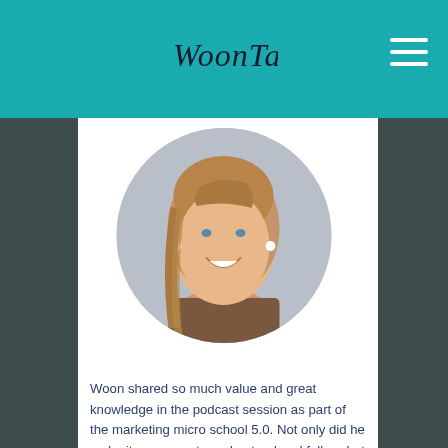WoonTan - website header with logo and navigation menu
[Figure (photo): Circular portrait photo of a smiling woman with long blonde-brown hair and pearl earrings, against a grey background]
Woon shared so much value and great knowledge in the podcast session as part of the marketing micro school 5.0. Not only did he make it very easy to understand and follow, but also shared a lot of interesting insights, platforms and best